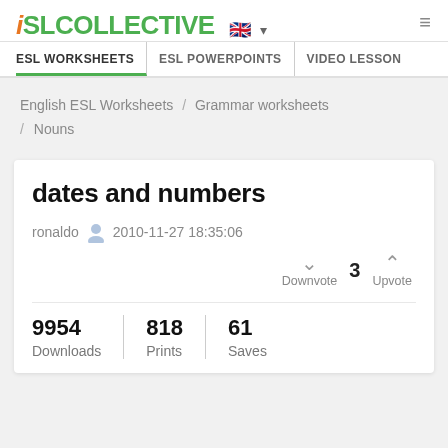iSLCOLLECTIVE
ESL WORKSHEETS | ESL POWERPOINTS | VIDEO LESSON
English ESL Worksheets / Grammar worksheets / Nouns
dates and numbers
ronaldo  2010-11-27 18:35:06
Downvote  3  Upvote
| 9954 Downloads | 818 Prints | 61 Saves |
| --- | --- | --- |
| 9954 | 818 | 61 |
| Downloads | Prints | Saves |